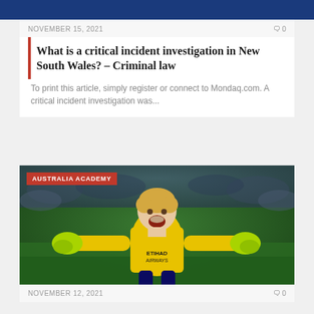NOVEMBER 15, 2021
What is a critical incident investigation in New South Wales? – Criminal law
To print this article, simply register or connect to Mondaq.com. A critical incident investigation was...
[Figure (photo): A goalkeeper wearing a yellow jersey with ETIHAD AIRWAYS sponsorship, arms outstretched, celebrating on a football field. Overlay tag reads AUSTRALIA ACADEMY.]
NOVEMBER 12, 2021